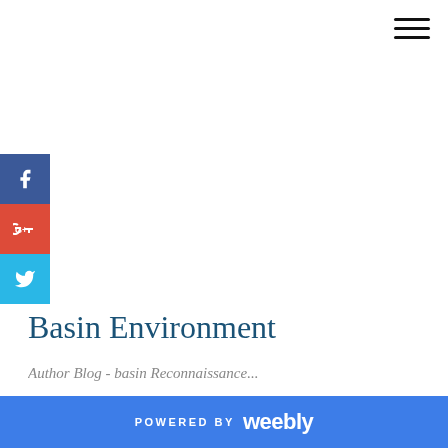[Figure (other): Hamburger menu icon (three horizontal lines) in top right corner]
[Figure (other): Facebook social share button (blue square with white 'f' icon)]
[Figure (other): Google+ social share button (red square with white 'G+' icon)]
[Figure (other): Twitter social share button (cyan square with white bird icon)]
Basin Environment
Author Blog - basin Reconnaissance...
POWERED BY weebly